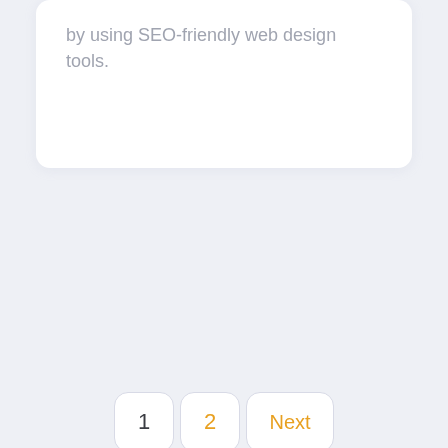by using SEO-friendly web design tools.
[Figure (screenshot): Pagination UI showing buttons: 1, 2 (in orange), Next (in orange), with rounded rectangular borders]
[Figure (screenshot): Partial white card with inner grey panel visible at bottom left of page]